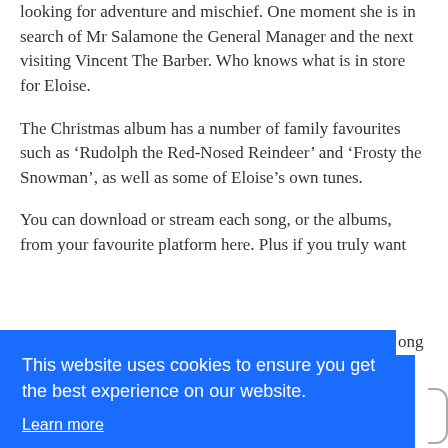looking for adventure and mischief. One moment she is in search of Mr Salamone the General Manager and the next visiting Vincent The Barber. Who knows what is in store for Eloise.
The Christmas album has a number of family favourites such as 'Rudolph the Red-Nosed Reindeer' and 'Frosty the Snowman', as well as some of Eloise's own tunes.
You can download or stream each song, or the albums, from your favourite platform here. Plus if you truly want [ong
This website uses cookies to ensure you get the best experience on our website.
Learn more
Accept
Eloise